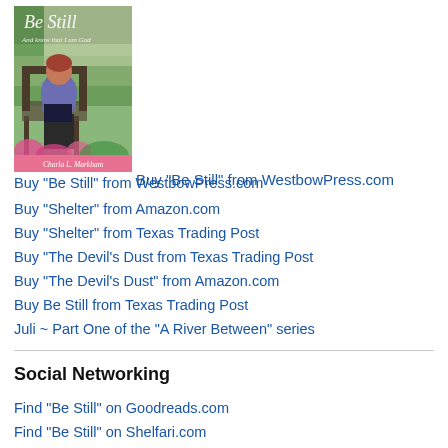[Figure (photo): Book cover of 'Be Still' by Charla L. Markham, showing a woman sitting in a garden chair holding a book, with pink flowers in the background and the author name on a pink banner at the bottom.]
Buy "Be Still" from WestbowPress.com
Buy "Shelter" from Amazon.com
Buy "Shelter" from Texas Trading Post
Buy "The Devil's Dust from Texas Trading Post
Buy "The Devil's Dust" from Amazon.com
Buy Be Still from Texas Trading Post
Juli ~ Part One of the "A River Between" series
Social Networking
Find "Be Still" on Goodreads.com
Find "Be Still" on Shelfari.com